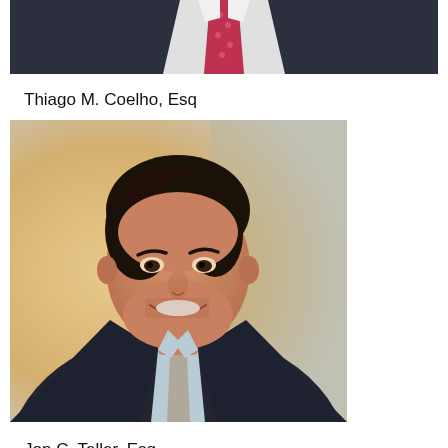[Figure (photo): Partial photo of a man in a dark suit with a pink/red tie, visible from shoulders up, cropped at top of page]
Thiago M. Coelho, Esq
[Figure (photo): Professional headshot of Thiago M. Coelho, a man with dark curly hair, wearing a dark suit, light blue shirt, and grey tie, smiling, warm background]
Jon C. Teller, Esq.